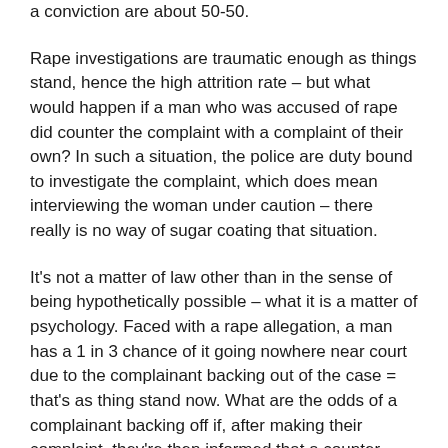a conviction are about 50-50.
Rape investigations are traumatic enough as things stand, hence the high attrition rate – but what would happen if a man who was accused of rape did counter the complaint with a complaint of their own? In such a situation, the police are duty bound to investigate the complaint, which does mean interviewing the woman under caution – there really is no way of sugar coating that situation.
It's not a matter of law other than in the sense of being hypothetically possible – what it is a matter of psychology. Faced with a rape allegation, a man has a 1 in 3 chance of it going nowhere near court due to the complainant backing out of the case = that's as thing stand now. What are the odds of a complainant backing off if, after making their complaint, they're then informed that a counter complaint has been lodge, after which they're arrested,